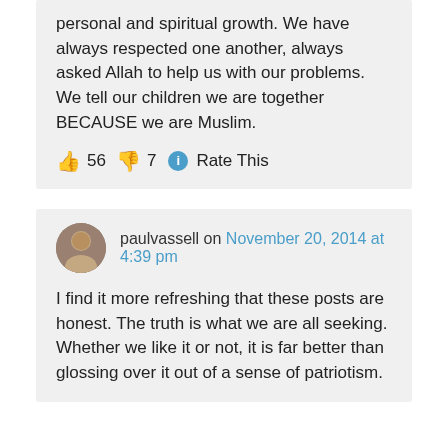personal and spiritual growth. We have always respected one another, always asked Allah to help us with our problems. We tell our children we are together BECAUSE we are Muslim.
👍 56 👎 7 ℹ Rate This
paulvassell on November 20, 2014 at 4:39 pm
I find it more refreshing that these posts are honest. The truth is what we are all seeking. Whether we like it or not, it is far better than glossing over it out of a sense of patriotism.